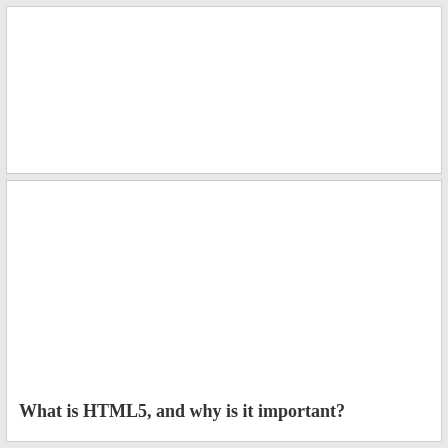[Figure (other): Top white panel area, blank]
What is HTML5, and why is it important?